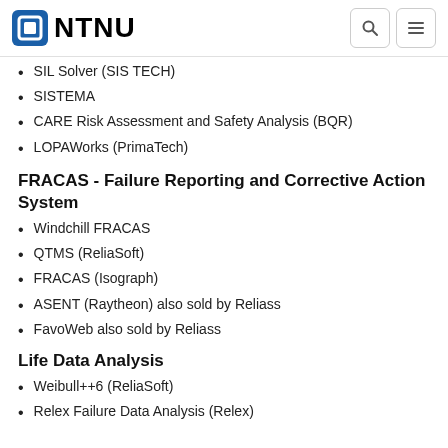NTNU
SIL Solver (SIS TECH)
SISTEMA
CARE Risk Assessment and Safety Analysis (BQR)
LOPAWorks (PrimaTech)
FRACAS - Failure Reporting and Corrective Action System
Windchill FRACAS
QTMS (ReliaSoft)
FRACAS (Isograph)
ASENT (Raytheon) also sold by Reliass
FavoWeb also sold by Reliass
Life Data Analysis
Weibull++6 (ReliaSoft)
Relex Failure Data Analysis (Relex)